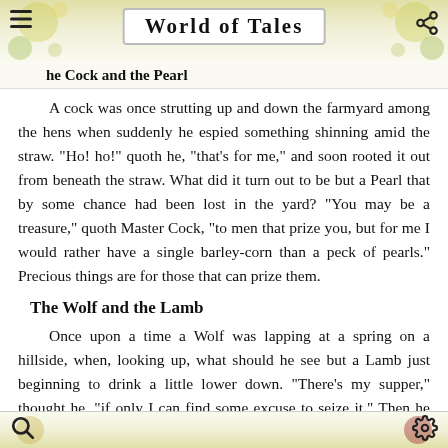World of Tales
The Cock and the Pearl
A cock was once strutting up and down the farmyard among the hens when suddenly he espied something shinning amid the straw. "Ho! ho!" quoth he, "that's for me," and soon rooted it out from beneath the straw. What did it turn out to be but a Pearl that by some chance had been lost in the yard? "You may be a treasure," quoth Master Cock, "to men that prize you, but for me I would rather have a single barley-corn than a peck of pearls." Precious things are for those that can prize them.
The Wolf and the Lamb
Once upon a time a Wolf was lapping at a spring on a hillside, when, looking up, what should he see but a Lamb just beginning to drink a little lower down. "There's my supper," thought he, "if only I can find some excuse to seize it." Then he called out to the Lamb, "How dare you muddle the water from which I am drinking?" "Nay, master, nay," said Lambikin; "if the water be muddy up there, I cannot be the cause of it, for it runs down from you to me." "Well, then," said the Wolf, "why did you call me bad names this time last year?" "That cannot be," said the Lamb, "I only six months old." "I don't care," snarled the Wolf;